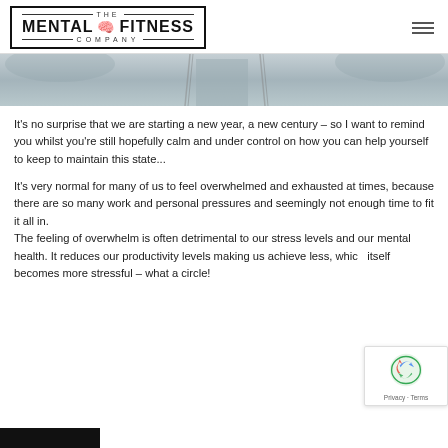THE MENTAL FITNESS COMPANY
[Figure (photo): Hero image showing chains or scales in a misty/grey outdoor setting]
It's no surprise that we are starting a new year, a new century – so I want to remind you whilst you're still hopefully calm and under control on how you can help yourself to keep to maintain this state...
It's very normal for many of us to feel overwhelmed and exhausted at times, because there are so many work and personal pressures and seemingly not enough time to fit it all in.
The feeling of overwhelm is often detrimental to our stress levels and our mental health. It reduces our productivity levels making us achieve less, which itself becomes more stressful – what a circle!